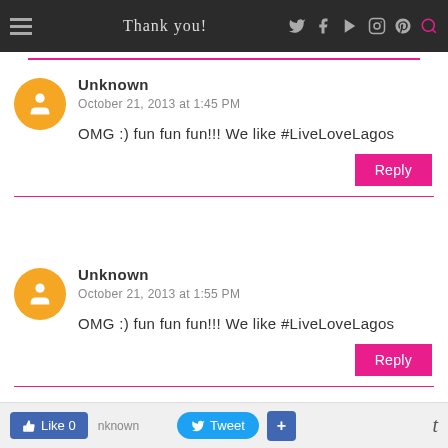Thank you!
Unknown
October 21, 2013 at 1:45 PM
OMG :) fun fun fun!!! We like #LiveLoveLagos
Unknown
October 21, 2013 at 1:55 PM
OMG :) fun fun fun!!! We like #LiveLoveLagos
Like 0  Tweet  +  t